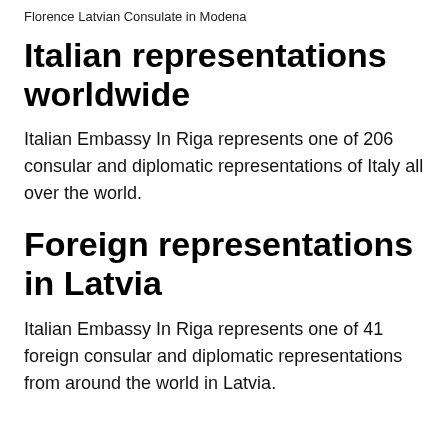Florence Latvian Consulate in Modena
Italian representations worldwide
Italian Embassy In Riga represents one of 206 consular and diplomatic representations of Italy all over the world.
Foreign representations in Latvia
Italian Embassy In Riga represents one of 41 foreign consular and diplomatic representations from around the world in Latvia.